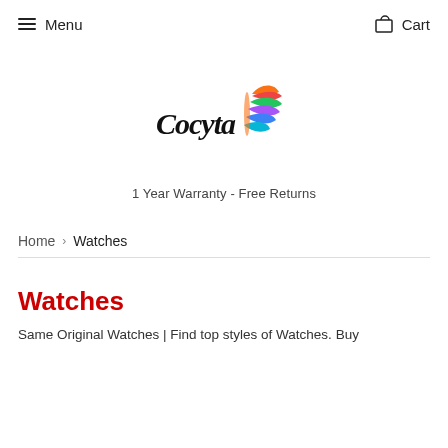Menu   Cart
[Figure (logo): Cocyta brand logo with colorful butterfly/feather graphic and script text 'Cocyta']
1 Year Warranty - Free Returns
Home › Watches
Watches
Same Original Watches | Find top styles of Watches. Buy